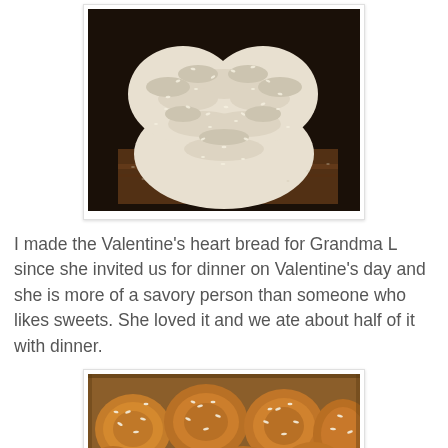[Figure (photo): Top-down photo of a braided heart-shaped bread with sesame seeds, placed on a wooden surface, against a dark background.]
I made the Valentine's heart bread for Grandma L since she invited us for dinner on Valentine's day and she is more of a savory person than someone who likes sweets. She loved it and we ate about half of it with dinner.
[Figure (photo): Close-up photo of golden-brown baked bread rolls topped with sesame seeds, in a baking dish.]